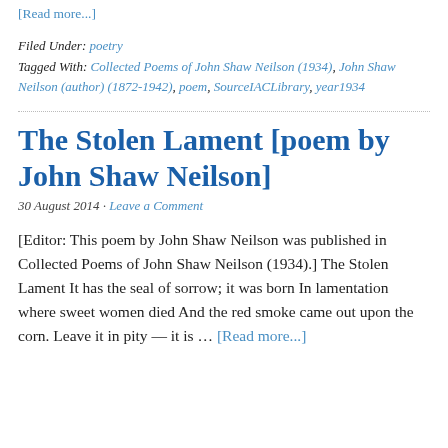[Read more...]
Filed Under: poetry
Tagged With: Collected Poems of John Shaw Neilson (1934), John Shaw Neilson (author) (1872-1942), poem, SourceIACLibrary, year1934
The Stolen Lament [poem by John Shaw Neilson]
30 August 2014 · Leave a Comment
[Editor: This poem by John Shaw Neilson was published in Collected Poems of John Shaw Neilson (1934).] The Stolen Lament It has the seal of sorrow; it was born In lamentation where sweet women died And the red smoke came out upon the corn. Leave it in pity — it is … [Read more...]